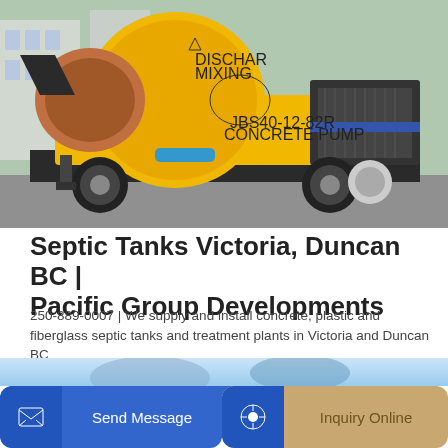[Figure (photo): Yellow concrete mixer pump machine (JBS40-12-82R Concrete Pump) with mixing drum labeled DISCHAR MIXING, on a trailer with large tires, parked outdoors on a street.]
Septic Tanks Victoria, Duncan BC | Pacific Group Developments
250-889-0007 | We supply and install concrete, plastic and fiberglass septic tanks and treatment plants in Victoria and Duncan BC
GET A QUOTE
Send Message
Inquiry Online